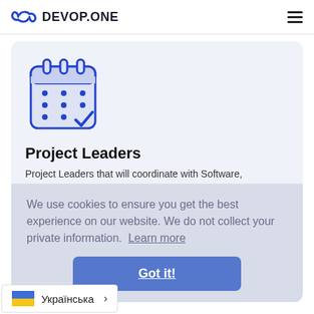DEVOP.ONE
[Figure (illustration): Calendar icon with blue outline, light blue fill, dots representing days, and a checkmark on the last day]
Project Leaders
Project Leaders that will coordinate with Software,
We use cookies to ensure you get the best experience on our website. We do not collect your private information.  Learn more
Got it!
Українська >